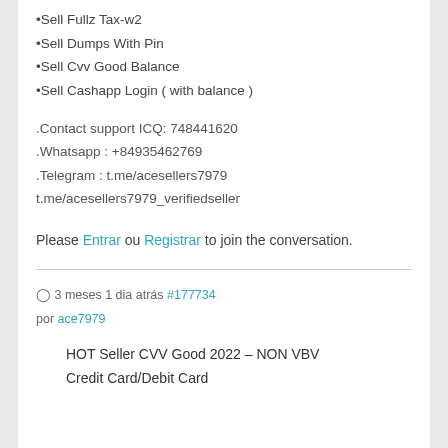•Sell Fullz Tax-w2
•Sell Dumps With Pin
•Sell Cvv Good Balance
•Sell Cashapp Login ( with balance )
.Contact support ICQ: 748441620
.Whatsapp : +84935462769
.Telegram : t.me/acesellers7979
t.me/acesellers7979_verifiedseller
Please Entrar ou Registrar to join the conversation.
3 meses 1 dia atrás #177734
por ace7979
HOT Seller CVV Good 2022 - NON VBV
Credit Card/Debit Card